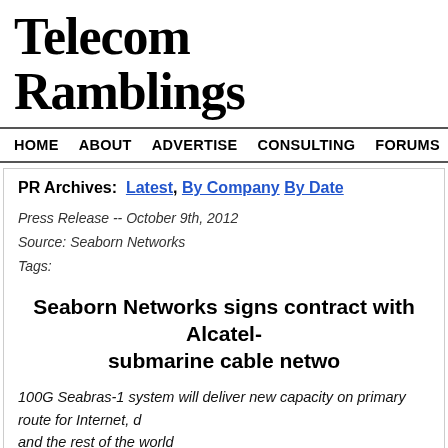Telecom Ramblings
HOME  ABOUT  ADVERTISE  CONSULTING  FORUMS  JOBS  CO...
PR Archives:  Latest,  By Company  By Date
Press Release -- October 9th, 2012
Source: Seaborn Networks
Tags:
Seaborn Networks signs contract with Alcatel- submarine cable netwo...
100G Seabras-1 system will deliver new capacity on primary route for Internet, a and the rest of the world
Paris /Boston, MA, October 9, 2012 – Seaborn Networks has signed a turnkey c and NYSE: ALU) to build Seabras-1, a new 10,700 km submarine cable system t Melanol Sao Paulo in Brazilwith also along the Paraborne Panthere...